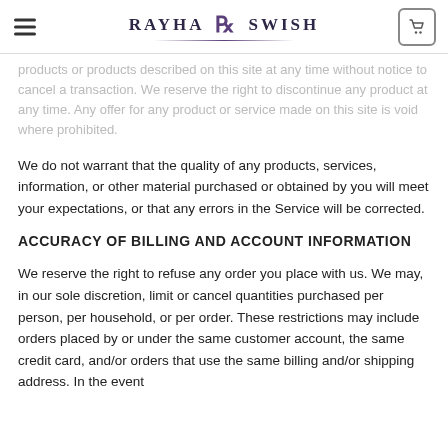RAYHA SWISH
products or products described on this site at any time without notice to cancel a transaction. We reserve the right to discontinue any product at any time. Any offer for any product or service made on this site is void where prohibited.
We do not warrant that the quality of any products, services, information, or other material purchased or obtained by you will meet your expectations, or that any errors in the Service will be corrected.
ACCURACY OF BILLING AND ACCOUNT INFORMATION
We reserve the right to refuse any order you place with us. We may, in our sole discretion, limit or cancel quantities purchased per person, per household, or per order. These restrictions may include orders placed by or under the same customer account, the same credit card, and/or orders that use the same billing and/or shipping address. In the event